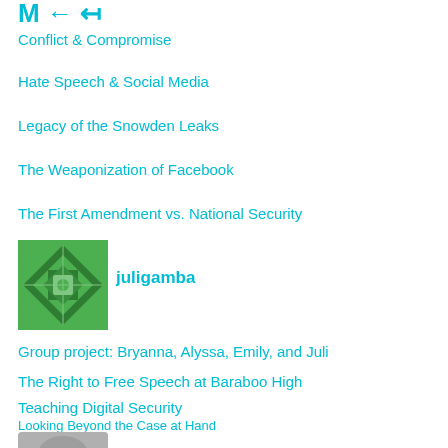[Figure (logo): Partial logo/icon at top left — teal colored stylized icon]
Conflict & Compromise
Hate Speech & Social Media
Legacy of the Snowden Leaks
The Weaponization of Facebook
The First Amendment vs. National Security
[Figure (illustration): Green geometric avatar/profile image]
juligamba
Group project: Bryanna, Alyssa, Emily, and Juli
The Right to Free Speech at Baraboo High
Teaching Digital Security
Looking Beyond the Case at Hand
Free Speech has become a rallying cry for the alt-right. We still need to defend it.
[Figure (photo): Partial photo of a person at the bottom]